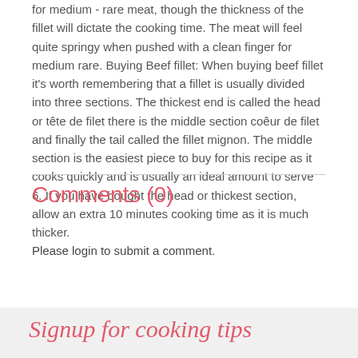for medium - rare meat, though the thickness of the fillet will dictate the cooking time. The meat will feel quite springy when pushed with a clean finger for medium rare. Buying Beef fillet: When buying beef fillet it's worth remembering that a fillet is usually divided into three sections. The thickest end is called the head or tête de filet there is the middle section coêur de filet and finally the tail called the fillet mignon. The middle section is the easiest piece to buy for this recipe as it cooks quickly and is usually an ideal amount to serve 6. If you have bought the head or thickest section, allow an extra 10 minutes cooking time as it is much thicker.
Comments (0)
Please login to submit a comment.
Signup for cooking tips